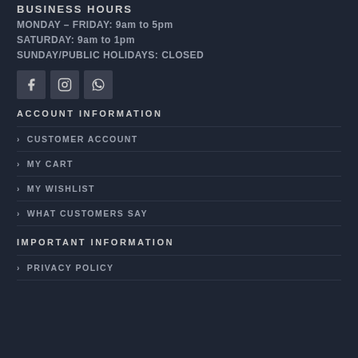BUSINESS HOURS
MONDAY – FRIDAY: 9am to 5pm
SATURDAY: 9am to 1pm
SUNDAY/PUBLIC HOLIDAYS: CLOSED
[Figure (illustration): Three social media icon buttons: Facebook, Instagram, WhatsApp]
ACCOUNT INFORMATION
CUSTOMER ACCOUNT
MY CART
MY WISHLIST
WHAT CUSTOMERS SAY
IMPORTANT INFORMATION
PRIVACY POLICY